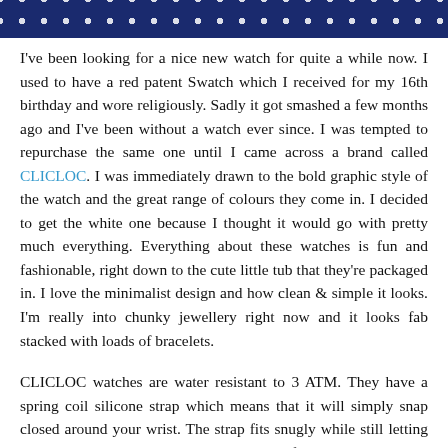[Figure (photo): Cropped photo showing the bottom portion of a dark navy blue polka dot dress or fabric with white dots pattern.]
I've been looking for a nice new watch for quite a while now. I used to have a red patent Swatch which I received for my 16th birthday and wore religiously. Sadly it got smashed a few months ago and I've been without a watch ever since. I was tempted to repurchase the same one until I came across a brand called CLICLOC. I was immediately drawn to the bold graphic style of the watch and the great range of colours they come in. I decided to get the white one because I thought it would go with pretty much everything. Everything about these watches is fun and fashionable, right down to the cute little tub that they're packaged in. I love the minimalist design and how clean & simple it looks. I'm really into chunky jewellery right now and it looks fab stacked with loads of bracelets.
CLICLOC watches are water resistant to 3 ATM. They have a spring coil silicone strap which means that it will simply snap closed around your wrist. The strap fits snugly while still letting your wrist breathe making it a great watch for Summer. One size will fit everyone so they would make the